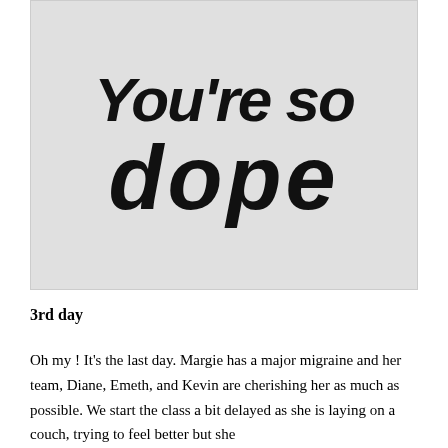[Figure (photo): Black and white photo of hand-painted/collaged text reading 'You're so dope' on a light grey background. The letters are made from painted brushstrokes and circular cut-out objects forming the word 'dope'.]
3rd day
Oh my ! It's the last day. Margie has a major migraine and her team, Diane, Emeth, and Kevin are cherishing her as much as possible. We start the class a bit delayed as she is laying on a couch, trying to feel better but she